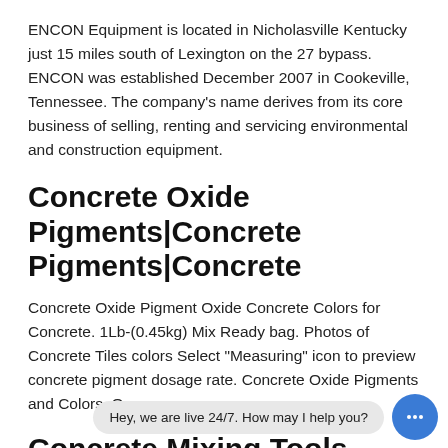ENCON Equipment is located in Nicholasville Kentucky just 15 miles south of Lexington on the 27 bypass. ENCON was established December 2007 in Cookeville, Tennessee. The company's name derives from its core business of selling, renting and servicing environmental and construction equipment.
Concrete Oxide Pigments|Concrete Pigments|Concrete
Concrete Oxide Pigment Oxide Concrete Colors for Concrete. 1Lb-(0.45kg) Mix Ready bag. Photos of Concrete Tiles colors Select "Measuring" icon to preview concrete pigment dosage rate. Concrete Oxide Pigments and Colors. Our ...
Concrete Mixing Tools - Concrete, Cement & Masonry
Get free 2-day shipping on qualified Concrete Mixing Tools products or buy Building Materials department products today with Buy On... 3.5 cu. ft. Moveable Pedestal The Kushlan Products 3.5 cu. ft.